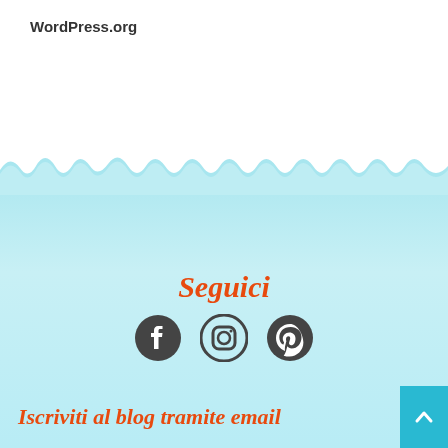WordPress.org
[Figure (illustration): Light blue teal background with wavy cloud-like border separating white top section from teal lower section. Facebook, Instagram, and Pinterest social media icons in dark gray.]
Seguici
Iscriviti al blog tramite email